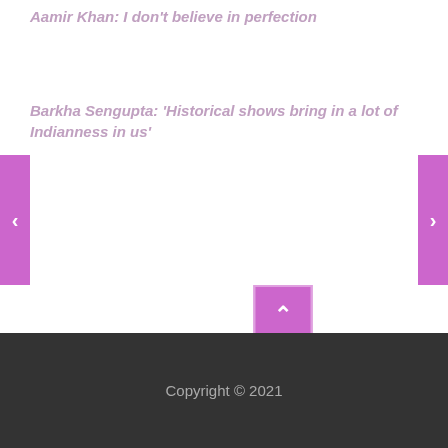Aamir Khan: I don't believe in perfection
Barkha Sengupta: 'Historical shows bring in a lot of Indianness in us'
[Figure (other): Left navigation arrow button in purple/orchid color]
[Figure (other): Right navigation arrow button in purple/orchid color]
[Figure (other): Scroll-to-top button with upward chevron in purple/orchid color]
Copyright © 2021